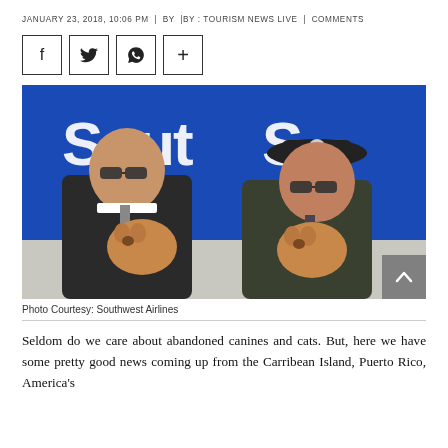JANUARY 23, 2018, 10:06 PM  |  BY  |BY : TOURISM NEWS LIVE  |  COMMENTS
[Figure (other): Four social sharing icons in bordered boxes: Facebook (f), Twitter (bird), WhatsApp (phone), and a plus sign (+).]
[Figure (photo): Two men in pilot/airline uniforms wearing sunglasses, each holding a small tan puppy, standing in front of a blue Southwest Airlines aircraft.]
Photo Courtesy: Southwest Airlines
Seldom do we care about abandoned canines and cats. But, here we have some pretty good news coming up from the Carribean Island, Puerto Rico, America's